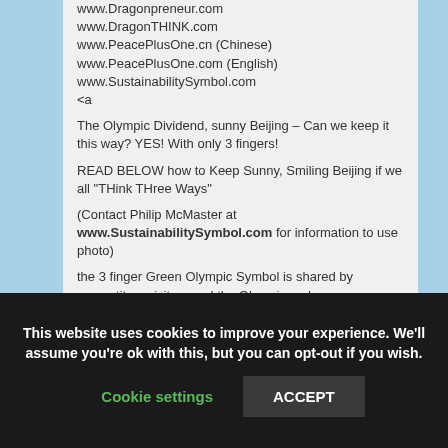www.Dragonpreneur.com
www.DragonTHINK.com
www.PeacePlusOne.cn (Chinese)
www.PeacePlusOne.com (English)
www.SustainabilitySymbol.com
<a
The Olympic Dividend, sunny Beijing – Can we keep it this way? YES! With only 3 fingers!
READ BELOW how to Keep Sunny, Smiling Beijing if we all "THink THree Ways"
(Contact Philip McMaster at www.SustainabilitySymbol.com for information to use photo)
the 3 finger Green Olympic Symbol is shared by competitors visitors and the Olympic and
This website uses cookies to improve your experience. We'll assume you're ok with this, but you can opt-out if you wish.